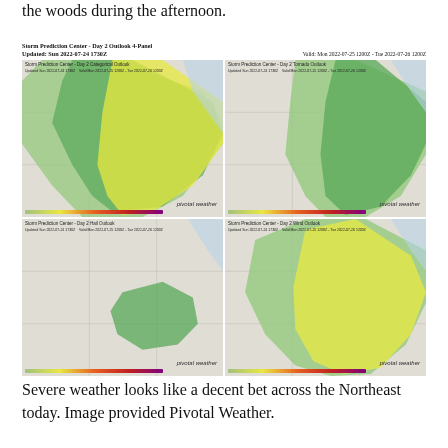the woods during the afternoon.
[Figure (map): Storm Prediction Center Day 2 Outlook 4-Panel showing categorical outlook, tornado outlook, hail outlook, and wind outlook maps for the northeastern United States. Updated Sun 2022-07-24 1730Z. Valid Mon 2022-07-25 1200Z - Tue 2022-07-26 1200Z. Maps show green and yellow shaded severe weather risk areas along the Northeast corridor. Labeled 'pivotal weather'.]
Severe weather looks like a decent bet across the Northeast today. Image provided Pivotal Weather.